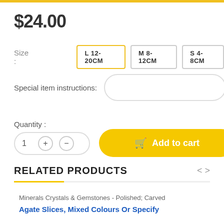$24.00
Size : L 12-20CM  M 8-12CM  S 4-8CM
Special item instructions:
Quantity :
Add to cart
RELATED PRODUCTS
Minerals Crystals & Gemstones - Polished; Carved
Agate Slices, Mixed Colours Or Specify